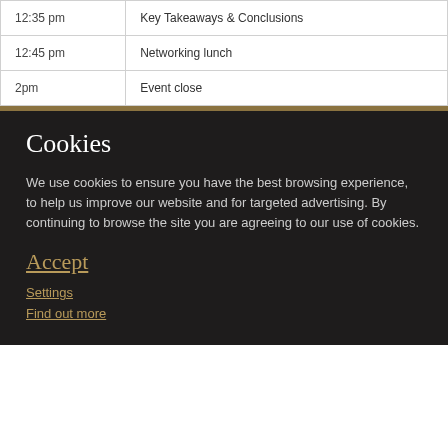| Time | Session |
| --- | --- |
| 12:35 pm | Key Takeaways & Conclusions |
| 12:45 pm | Networking lunch |
| 2pm | Event close |
Cookies
We use cookies to ensure you have the best browsing experience, to help us improve our website and for targeted advertising. By continuing to browse the site you are agreeing to our use of cookies.
Accept
Settings
Find out more